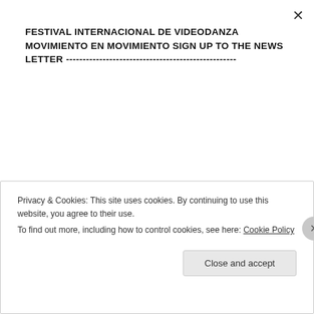FESTIVAL INTERNACIONAL DE VIDEODANZA MOVIMIENTO EN MOVIMIENTO SIGN UP TO THE NEWS LETTER -------------------------------------------------------
Subscribe
MeM#7 —30) Escaleras sin Fin-2
MeM#7 —31) The Icons
MeM#7 —32) Selfiesism – Dance Duet
MeM#7 —33) Inward. The Same Small Spot
MeM#7 —34) Exige otro t i e m p o
MeM#7 —35) Skype Duet
Privacy & Cookies: This site uses cookies. By continuing to use this website, you agree to their use. To find out more, including how to control cookies, see here: Cookie Policy
Close and accept